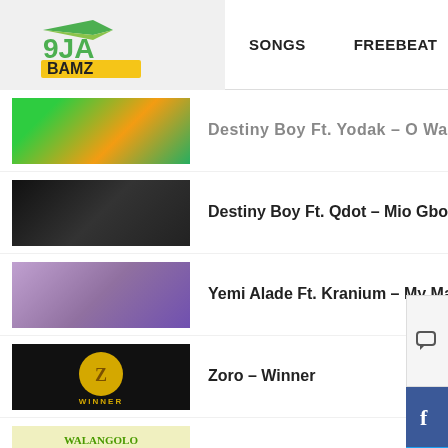[Figure (logo): 9JA BAMZ logo with green and yellow colors]
SONGS    FREEBEAT    MORE
Destiny Boy Ft. Yodak – O Wa (truncated, partially visible)
Destiny Boy Ft. Qdot – Mio Gbokankan (Remix)
Yemi Alade Ft. Kranium – My Man
Zoro – Winner
DJ Neptune Ft. Mr Eazi & Konshens – Wangolo